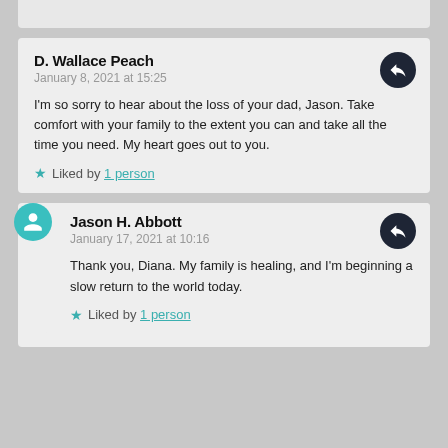D. Wallace Peach
January 8, 2021 at 15:25

I'm so sorry to hear about the loss of your dad, Jason. Take comfort with your family to the extent you can and take all the time you need. My heart goes out to you.

★ Liked by 1 person
Jason H. Abbott
January 17, 2021 at 10:16

Thank you, Diana. My family is healing, and I'm beginning a slow return to the world today.

★ Liked by 1 person